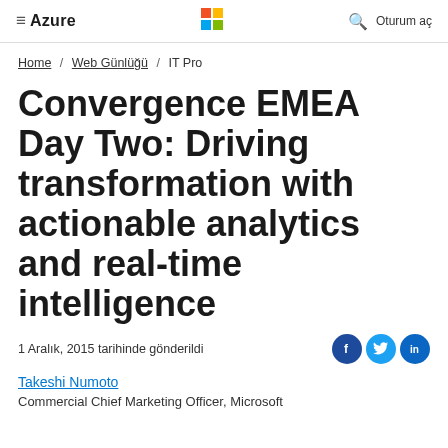Azure | [Microsoft logo] | [Search icon] | Oturum aç
Home / Web Günlüğü / IT Pro
Convergence EMEA Day Two: Driving transformation with actionable analytics and real-time intelligence
1 Aralık, 2015 tarihinde gönderildi
Takeshi Numoto
Commercial Chief Marketing Officer, Microsoft
article intro text (partially visible)